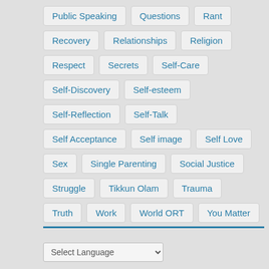Public Speaking
Questions
Rant
Recovery
Relationships
Religion
Respect
Secrets
Self-Care
Self-Discovery
Self-esteem
Self-Reflection
Self-Talk
Self Acceptance
Self image
Self Love
Sex
Single Parenting
Social Justice
Struggle
Tikkun Olam
Trauma
Truth
Work
World ORT
You Matter